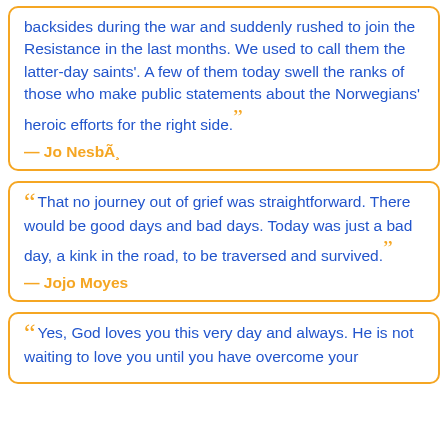backsides during the war and suddenly rushed to join the Resistance in the last months. We used to call them the latter-day saints'. A few of them today swell the ranks of those who make public statements about the Norwegians' heroic efforts for the right side.” — Jo Nesbø
“That no journey out of grief was straightforward. There would be good days and bad days. Today was just a bad day, a kink in the road, to be traversed and survived.” — Jojo Moyes
“Yes, God loves you this very day and always. He is not waiting to love you until you have overcome your